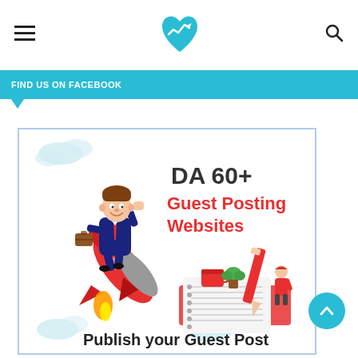Navigation header with hamburger menu, heart+chart logo, and search icon
FIND US ON FACEBOOK
[Figure (illustration): Promotional illustration for DA 60+ Guest Posting Websites. Shows a cartoon businessman in a suit riding a red rocket, carrying a briefcase. Text reads 'DA 60+ Guest Posting Websites' in dark/red font. Lower section shows a pencil writing on a notepad with a small plant, coffee cup, and a person. Bottom text: 'Publish your Guest Post'.]